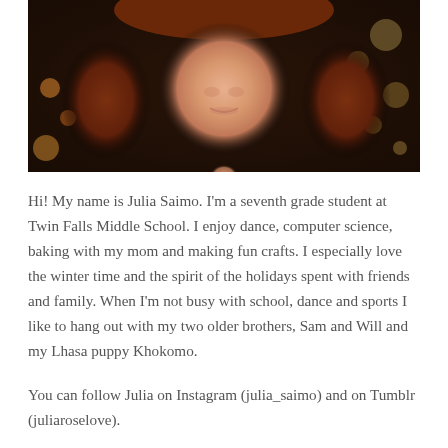[Figure (photo): Close-up photo of a young woman with long reddish-brown hair, light skin, and a slight smile. Background is dark with out-of-focus bokeh light circles in orange and tan tones.]
Hi! My name is Julia Saimo. I'm a seventh grade student at Twin Falls Middle School. I enjoy dance, computer science, baking with my mom and making fun crafts. I especially love the winter time and the spirit of the holidays spent with friends and family. When I'm not busy with school, dance and sports I like to hang out with my two older brothers, Sam and Will and my Lhasa puppy Khokomo.
You can follow Julia on Instagram (julia_saimo) and on Tumblr (juliaroselove).